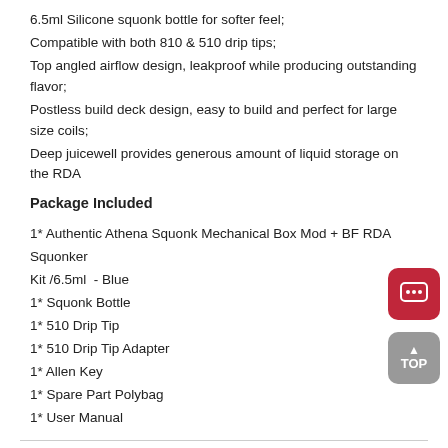6.5ml Silicone squonk bottle for softer feel;
Compatible with both 810 & 510 drip tips;
Top angled airflow design, leakproof while producing outstanding flavor;
Postless build deck design, easy to build and perfect for large size coils;
Deep juicewell provides generous amount of liquid storage on the RDA
Package Included
1* Authentic Athena Squonk Mechanical Box Mod + BF RDA Squonker Kit /6.5ml  - Blue
1* Squonk Bottle
1* 510 Drip Tip
1* 510 Drip Tip Adapter
1* Allen Key
1* Spare Part Polybag
1* User Manual
Payment Methods
Shipping and Tracking
REVIEWS